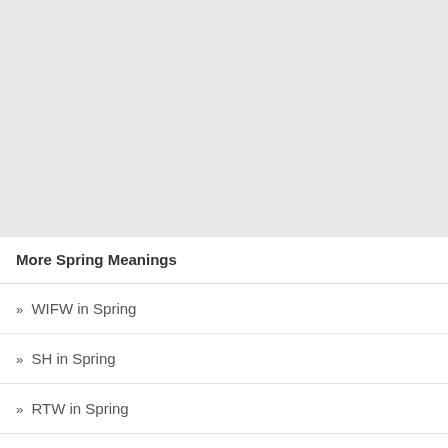More Spring Meanings
» WIFW in Spring
» SH in Spring
» RTW in Spring
» RP in Spring
» ROS in Spring